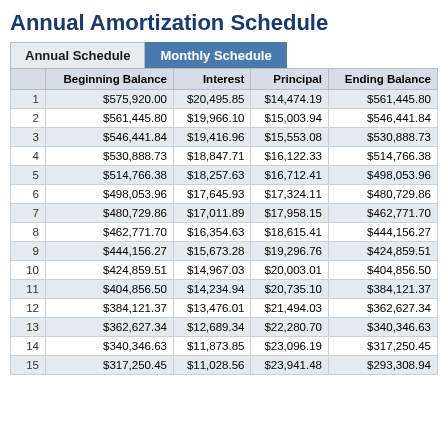Annual Amortization Schedule
|  | Beginning Balance | Interest | Principal | Ending Balance |
| --- | --- | --- | --- | --- |
| 1 | $575,920.00 | $20,495.85 | $14,474.19 | $561,445.80 |
| 2 | $561,445.80 | $19,966.10 | $15,003.94 | $546,441.84 |
| 3 | $546,441.84 | $19,416.96 | $15,553.08 | $530,888.73 |
| 4 | $530,888.73 | $18,847.71 | $16,122.33 | $514,766.38 |
| 5 | $514,766.38 | $18,257.63 | $16,712.41 | $498,053.96 |
| 6 | $498,053.96 | $17,645.93 | $17,324.11 | $480,729.86 |
| 7 | $480,729.86 | $17,011.89 | $17,958.15 | $462,771.70 |
| 8 | $462,771.70 | $16,354.63 | $18,615.41 | $444,156.27 |
| 9 | $444,156.27 | $15,673.28 | $19,296.76 | $424,859.51 |
| 10 | $424,859.51 | $14,967.03 | $20,003.01 | $404,856.50 |
| 11 | $404,856.50 | $14,234.94 | $20,735.10 | $384,121.37 |
| 12 | $384,121.37 | $13,476.01 | $21,494.03 | $362,627.34 |
| 13 | $362,627.34 | $12,689.34 | $22,280.70 | $340,346.63 |
| 14 | $340,346.63 | $11,873.85 | $23,096.19 | $317,250.45 |
| 15 | $317,250.45 | $11,028.56 | $23,941.48 | $293,308.94 |